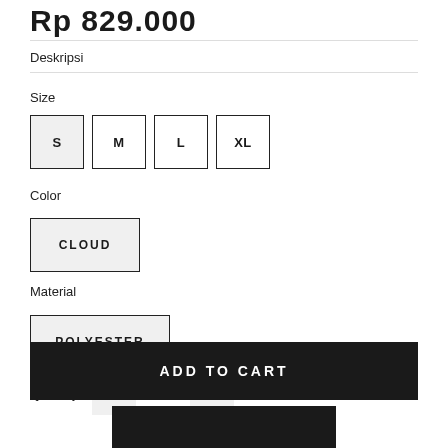Rp 829.000
Deskripsi
Size
S  M  L  XL
Color
CLOUD
Material
POLYESTER
Quantity  −  1  +
ADD TO CART